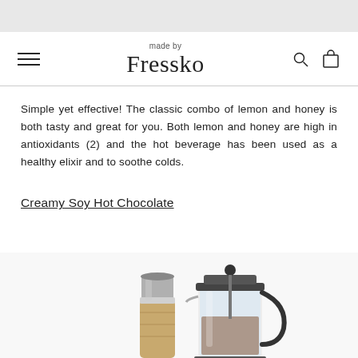made by Fressko
Simple yet effective! The classic combo of lemon and honey is both tasty and great for you. Both lemon and honey are high in antioxidants (2) and the hot beverage has been used as a healthy elixir and to soothe colds.
Creamy Soy Hot Chocolate
[Figure (photo): A French press coffee maker and a travel tumbler with bamboo sleeve photographed together on a white background.]